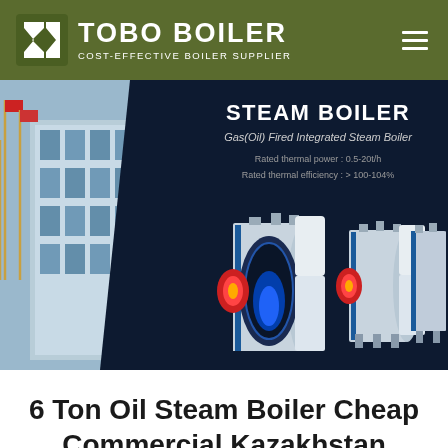[Figure (logo): TOBO BOILER logo with white boiler icon on olive/dark green header background and text 'COST-EFFECTIVE BOILER SUPPLIER']
[Figure (screenshot): Hero banner showing a building with flags on the left side and on the dark background right side: STEAM BOILER heading, Gas(Oil) Fired Integrated Steam Boiler subtitle, specs Rated thermal power: 0.5-20t/h and Rated thermal efficiency: >100-104%, with three industrial steam boiler units displayed]
6 Ton Oil Steam Boiler Cheap Commercial Kazakhstan